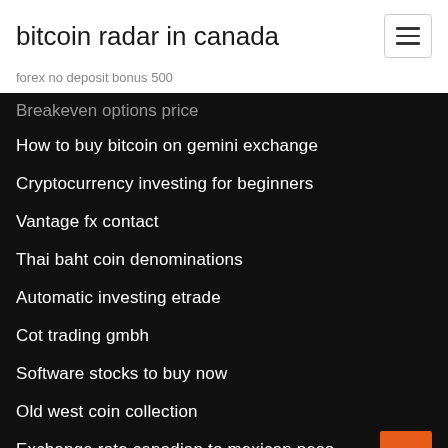bitcoin radar in canada
forex no deposit bonus 500
Breakeven options price
How to buy bitcoin on gemini exchange
Cryptocurrency investing for beginners
Vantage fx contact
Thai baht coin denominations
Automatic investing etrade
Cot trading gmbh
Software stocks to buy now
Old west coin collection
Exchange rate canadian to mexican peso
Zacks black box trader